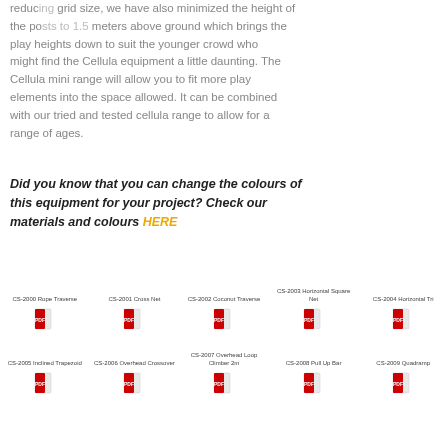reducing grid size, we have also minimized the height of the posts to 1.5 meters above ground which brings the play heights down to suit the younger crowd who might find the Cellula equipment a little daunting. The Cellula mini range will allow you to fit more play elements into the space allowed. It can be combined with our tried and tested cellula range to allow for a range of ages.
Did you know that you can change the colours of this equipment for your project? Check our materials and colours HERE
[Figure (other): Product catalog grid showing 10 products: CS-2000 Rope Traverse, CS-2001 Cross Net, CS-2002 Coconut Traverse, CS-2003 Horizontal Square Net, CS-2004 Horizontal Tri, CS-2005 Inclined Trapezoid, CS-2006 Overhead Crossover, CS-2007 Overhead Loop Climber 2m, CS-2008 Pull Up Bar, CS-2009 Quadramp, each with a PDF icon below.]